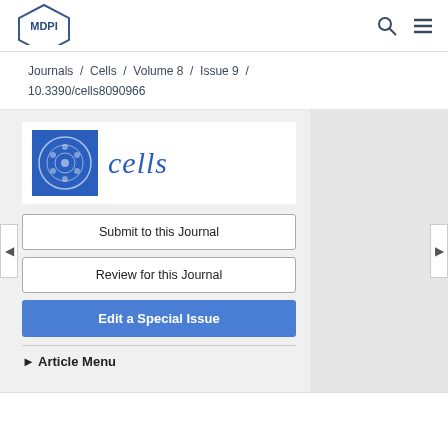[Figure (logo): MDPI logo - hexagon outline with MDPI text inside]
Journals / Cells / Volume 8 / Issue 9 / 10.3390/cells8090966
[Figure (logo): Cells journal logo - blue square with cell illustration and italic 'cells' text]
Submit to this Journal
Review for this Journal
Edit a Special Issue
► Article Menu
Open Access   Article